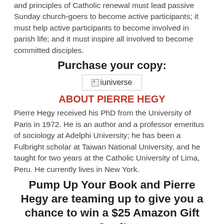and principles of Catholic renewal must lead passive Sunday church-goers to become active participants; it must help active participants to become involved in parish life; and it must inspire all involved to become committed disciples.
Purchase your copy:
[Figure (logo): iuniverse logo image placeholder]
ABOUT PIERRE HEGY
Pierre Hegy received his PhD from the University of Paris in 1972. He is an author and a professor emeritus of sociology at Adelphi University; he has been a Fulbright scholar at Taiwan National University, and he taught for two years at the Catholic University of Lima, Peru. He currently lives in New York.
Pump Up Your Book and Pierre Hegy are teaming up to give you a chance to win a $25 Amazon Gift Card!
Terms & Conditions:
By entering the giveaway, you are confirming you are at least 18 years old.